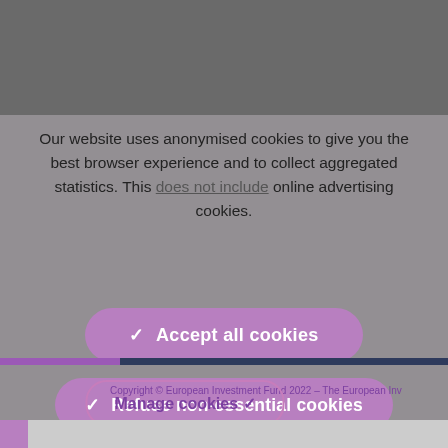[Figure (screenshot): Dark gray obscured website content behind cookie overlay]
Our website uses anonymised cookies to give you the best browser experience and to collect aggregated statistics. This does not include online advertising cookies.
✓  Accept all cookies
✓  Refuse non-essential cookies
Copyright © European Investment Fund 2022 – The European Inv
Manage cookies ✓